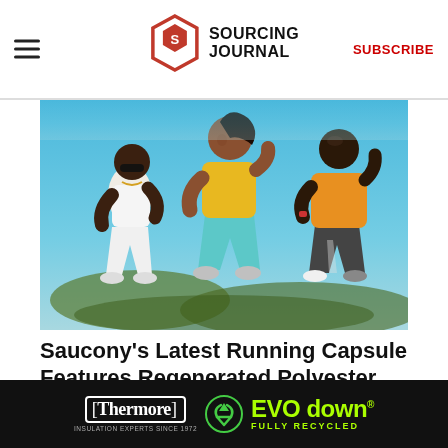SOURCING JOURNAL | SUBSCRIBE
[Figure (photo): Three runners — two men and a woman — jogging outdoors against a blue sky. The woman in the center wears a yellow top and teal shorts. One man wears a white tank and white pants, another wears a yellow/orange shirt and dark shorts.]
Saucony's Latest Running Capsule Features Regenerated Polyester
SPONSORED CONTENT
[Figure (photo): Thermore EVO down - Fully Recycled advertisement banner. Black background with Thermore logo in white bordered box, green recycling symbol, and EVO down text in neon green. Text: INSULATION EXPERTS SINCE 1972 | EVO down | FULLY RECYCLED]